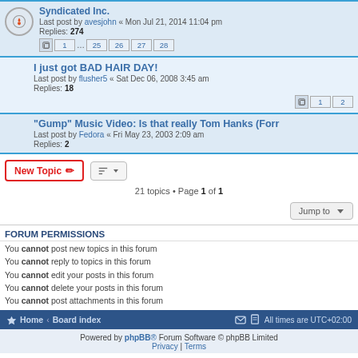Syndicated Inc. — Last post by avesjohn « Mon Jul 21, 2014 11:04 pm — Replies: 274
I just got BAD HAIR DAY! — Last post by flusher5 « Sat Dec 06, 2008 3:45 am — Replies: 18
"Gump" Music Video: Is that really Tom Hanks (Forr — Last post by Fedora « Fri May 23, 2003 2:09 am — Replies: 2
21 topics • Page 1 of 1
FORUM PERMISSIONS
You cannot post new topics in this forum
You cannot reply to topics in this forum
You cannot edit your posts in this forum
You cannot delete your posts in this forum
You cannot post attachments in this forum
Home • Board index — All times are UTC+02:00 — Powered by phpBB® Forum Software © phpBB Limited — Privacy | Terms